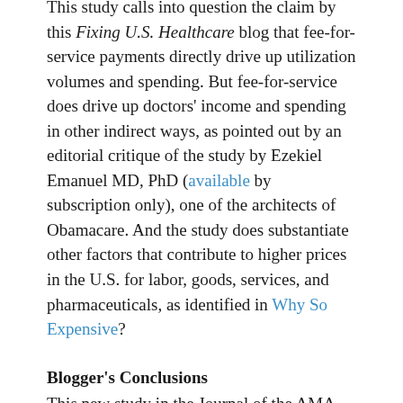This study calls into question the claim by this Fixing U.S. Healthcare blog that fee-for-service payments directly drive up utilization volumes and spending. But fee-for-service does drive up doctors' income and spending in other indirect ways, as pointed out by an editorial critique of the study by Ezekiel Emanuel MD, PhD (available by subscription only), one of the architects of Obamacare. And the study does substantiate other factors that contribute to higher prices in the U.S. for labor, goods, services, and pharmaceuticals, as identified in Why So Expensive?
Blogger's Conclusions
This new study in the Journal of the AMA singles out prices, pharmaceutical costs, and administrative complexity as principal drivers of soaring healthcare